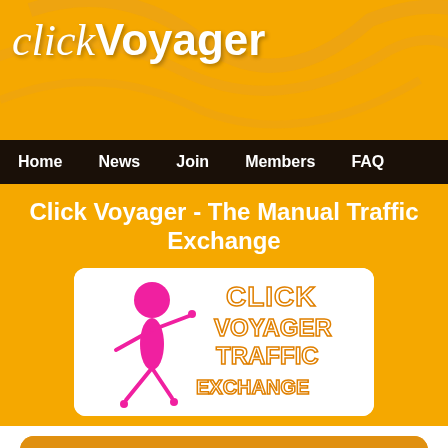click Voyager
Home | News | Join | Members | FAQ
Click Voyager - The Manual Traffic Exchange
[Figure (logo): Click Voyager Traffic Exchange logo with pink stick figure and orange embossed text reading CLICK VOYAGER TRAFFIC EXCHANGE]
Earn Free Traffic
Earn credits for every site that you visit and exchange them for advertising on our site. You can